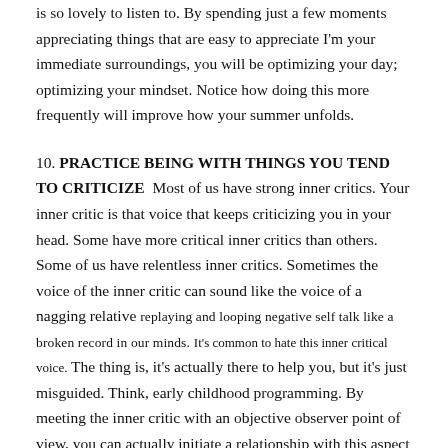is so lovely to listen to. By spending just a few moments appreciating things that are easy to appreciate I'm your immediate surroundings, you will be optimizing your day; optimizing your mindset. Notice how doing this more frequently will improve how your summer unfolds.
10. PRACTICE BEING WITH THINGS YOU TEND TO CRITICIZE  Most of us have strong inner critics. Your inner critic is that voice that keeps criticizing you in your head. Some have more critical inner critics than others. Some of us have relentless inner critics. Sometimes the voice of the inner critic can sound like the voice of a nagging relative replaying and looping negative self talk like a broken record in our minds. It's common to hate this inner critical voice. The thing is, it's actually there to help you, but it's just misguided. Think, early childhood programming. By meeting the inner critic with an objective observer point of view, you can actually initiate a relationship with this aspect of yourself. When you are able to be in the presence of your inner critic without reaction, you can start to ask the inner critic what it's purpose is. When you allow an exchange between the current self and the critical self, you will likely find that the critic is open to negotiating a new way of being that is more helpful and positive. Contact me if you'd like to work more